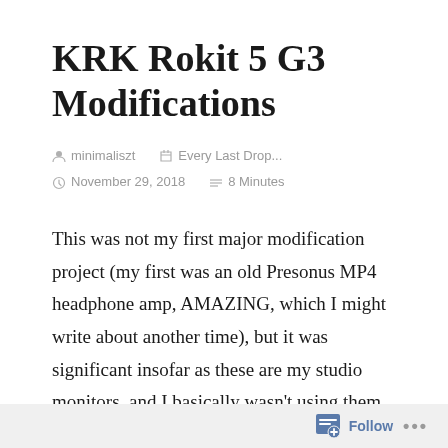KRK Rokit 5 G3 Modifications
minimaliszt   Every Last Drop...   November 29, 2018   8 Minutes
This was not my first major modification project (my first was an old Presonus MP4 headphone amp, AMAZING, which I might write about another time), but it was significant insofar as these are my studio monitors, and I basically wasn't using them. They're just not clear enough. Muddy and incoherent, kinda bland, can't hear
Follow ...